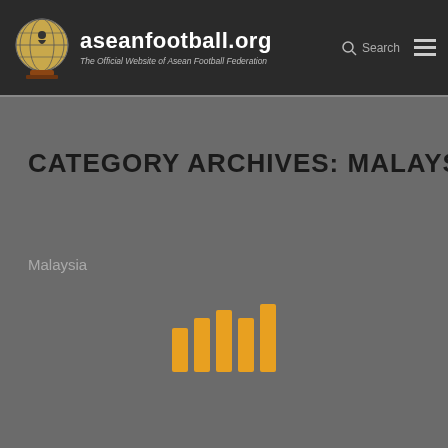aseanfootball.org — The Official Website of Asean Football Federation
CATEGORY ARCHIVES: MALAYSIA
Malaysia
[Figure (other): Loading spinner graphic — five vertical bars of varying heights in amber/orange color, resembling a barcode or loading animation]